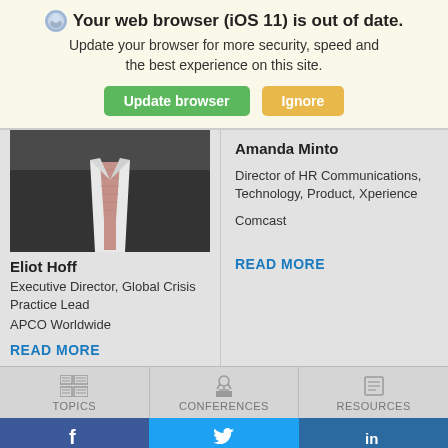Your web browser (iOS 11) is out of date. Update your browser for more security, speed and the best experience on this site.
Update browser | Ignore
[Figure (photo): Photo of a person in a dark suit with a pink/mauve tie visible from chest up]
Eliot Hoff
Executive Director, Global Crisis Practice Lead
APCO Worldwide
READ MORE
Amanda Minto
Director of HR Communications, Technology, Product, Xperience
Comcast
READ MORE
TOPICS
CONFERENCES
RESOURCES